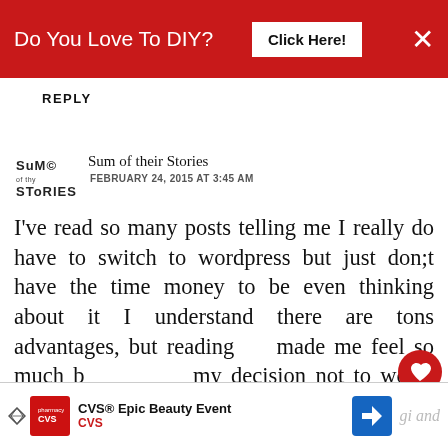[Figure (screenshot): Red banner advertisement: 'Do You Love To DIY? Click Here!' with close X button]
REPLY
[Figure (logo): Sum of their Stories blog logo — stylized text illustration]
Sum of their Stories
FEBRUARY 24, 2015 AT 3:45 AM
I've read so many posts telling me I really do have to switch to wordpress but just don;t have the time money to be even thinking about it I understand there are tons advantages, but reading this has made me feel so much better about my decision not to worry about it.
[Figure (screenshot): What's Next widget: 'Why I Will Never Be A...' with thumbnail image]
[Figure (screenshot): Bottom advertisement: CVS Epic Beauty Event]